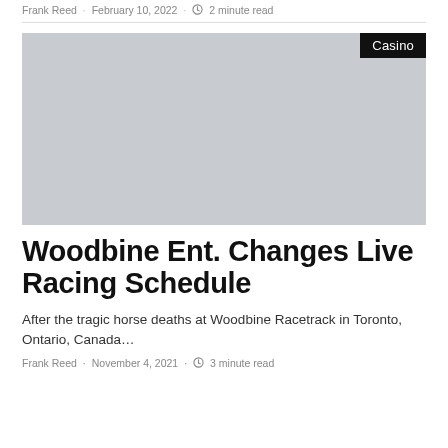Frank Reed · February 10, 2022 · 2 minute read
[Figure (photo): Grey placeholder image for a Casino article with a 'Casino' badge in the top right corner]
Woodbine Ent. Changes Live Racing Schedule
After the tragic horse deaths at Woodbine Racetrack in Toronto, Ontario, Canada…
Frank Reed · November 4, 2021 · 3 minute read